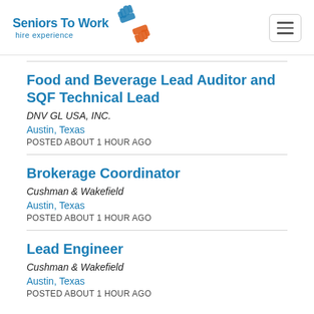[Figure (logo): Seniors To Work logo with 'hire experience' tagline and handshake icon in blue and orange]
Food and Beverage Lead Auditor and SQF Technical Lead
DNV GL USA, INC.
Austin, Texas
POSTED ABOUT 1 HOUR AGO
Brokerage Coordinator
Cushman & Wakefield
Austin, Texas
POSTED ABOUT 1 HOUR AGO
Lead Engineer
Cushman & Wakefield
Austin, Texas
POSTED ABOUT 1 HOUR AGO